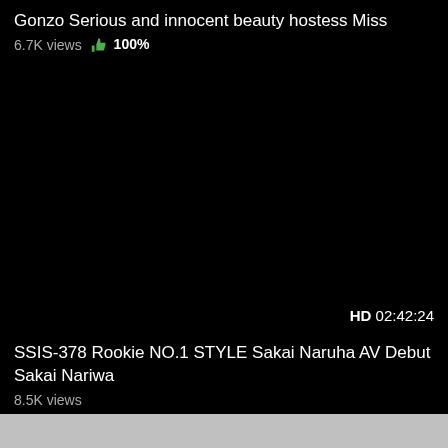Gonzo Serious and innocent beauty hostess Miss
6.7K views  👍 100%
[Figure (screenshot): Black video player area with HD badge and timestamp 02:42:24 in bottom right]
SSIS-378 Rookie NO.1 STYLE Sakai Naruha AV Debut Sakai Nariwa
8.5K views
[Figure (screenshot): Gray thumbnail image area at bottom of page]